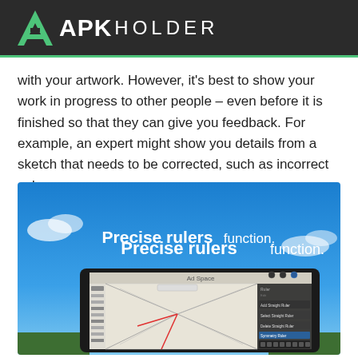APK HOLDER
with your artwork. However, it's best to show your work in progress to other people – even before it is finished so that they can give you feedback. For example, an expert might show you details from a sketch that needs to be corrected, such as incorrect colors.
[Figure (screenshot): Screenshot of a drawing app showing 'Precise rulers function.' text over a blue sky background, with a tablet displaying a perspective drawing of a hallway interior and a ruler tool menu panel.]